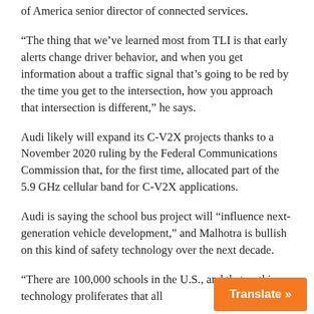of America senior director of connected services.
“The thing that we’ve learned most from TLI is that early alerts change driver behavior, and when you get information about a traffic signal that’s going to be red by the time you get to the intersection, how you approach that intersection is different,” he says.
Audi likely will expand its C-V2X projects thanks to a November 2020 ruling by the Federal Communications Commission that, for the first time, allocated part of the 5.9 GHz cellular band for C-V2X applications.
Audi is saying the school bus project will “influence next-generation vehicle development,” and Malhotra is bullish on this kind of safety technology over the next decade.
“There are 100,000 schools in the U.S., and that as this technology proliferates that all